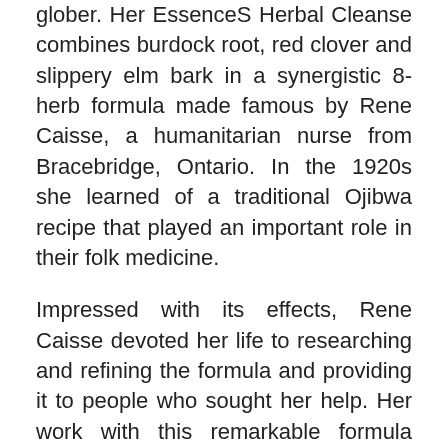glober. Her EssenceS Herbal Cleanse combines burdock root, red clover and slippery elm bark in a synergistic 8-herb formula made famous by Rene Caisse, a humanitarian nurse from Bracebridge, Ontario. In the 1920s she learned of a traditional Ojibwa recipe that played an important role in their folk medicine.
Impressed with its effects, Rene Caisse devoted her life to researching and refining the formula and providing it to people who sought her help. Her work with this remarkable formula attracted the attention of Dr. Charles Brusch, former personal physician to U.S. President John F. Kennedy.
Together they perfected the formula, which was later popularized by Vancouver health educator and radio broadcaster Elaine Alexander. Her dedication to promoting this herbal tea prompted Dr. Brusch to pass the rights to this formula to Elaine Alexander.